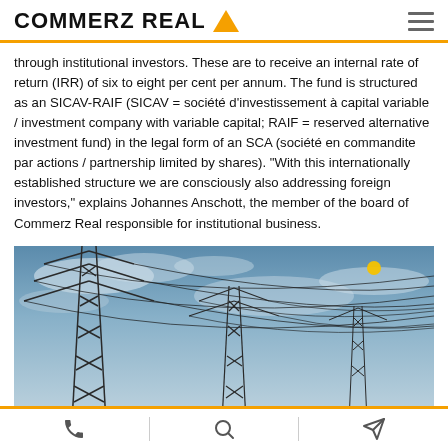COMMERZ REAL
through institutional investors. These are to receive an internal rate of return (IRR) of six to eight per cent per annum. The fund is structured as an SICAV-RAIF (SICAV = société d'investissement à capital variable / investment company with variable capital; RAIF = reserved alternative investment fund) in the legal form of an SCA (société en commandite par actions / partnership limited by shares). "With this internationally established structure we are consciously also addressing foreign investors," explains Johannes Anschott, the member of the board of Commerz Real responsible for institutional business.
[Figure (photo): Low-angle view of tall electricity transmission pylons with high-voltage power lines against a partly cloudy blue sky, with a small yellow dot (sun) visible in the upper right area.]
Phone | Search | Share